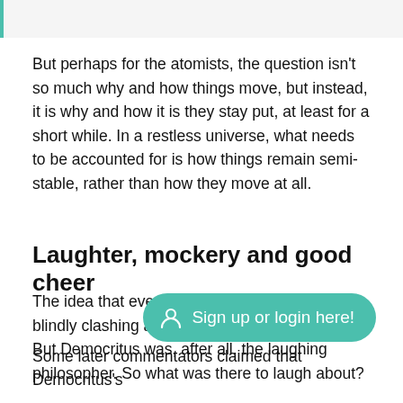But perhaps for the atomists, the question isn't so much why and how things move, but instead, it is why and how it is they stay put, at least for a short while. In a restless universe, what needs to be accounted for is how things remain semi-stable, rather than how they move at all.
Laughter, mockery and good cheer
The idea that everything is at root made up of blindly clashing atoms may seem a bleak one. But Democritus was, after all, the laughing philosopher. So what was there to laugh about?
Some later commentators claimed that Democritus's